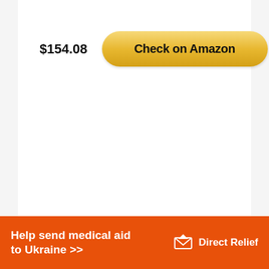$154.08
[Figure (other): Yellow rounded button labeled 'Check on Amazon']
[Figure (other): Orange advertisement banner: 'Help send medical aid to Ukraine >>' with Direct Relief logo]